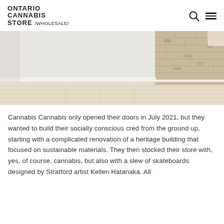ONTARIO CANNABIS STORE /WHOLESALE/
[Figure (photo): Interior photo of a room with light wood flooring, grey/white walls, and a textured stone or brick wall panel on the right side. Natural light visible from upper right corner.]
Cannabis Cannabis only opened their doors in July 2021, but they wanted to build their socially conscious cred from the ground up, starting with a complicated renovation of a heritage building that focused on sustainable materials. They then stocked their store with, yes, of course, cannabis, but also with a slew of skateboards designed by Stratford artist Kellen Hatanaka. All